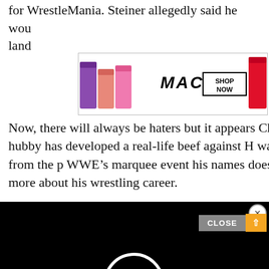for WrestleMania. Steiner allegedly said he wou... land...
[Figure (photo): MAC Cosmetics banner advertisement showing lipsticks (purple, pink, hot pink, red) with MAC logo and SHOP NOW button]
Now, there will always be haters but it appears Christa’s hubby has developed a real-life beef against H[...] was banned from the p[...] WWE’s marquee event[...] his names doesn’t ring[...] more about his wrestling career.
[Figure (screenshot): Black video player overlay with spinning loading indicator (white partial circle) and X close button in top right]
[Figure (photo): Macy's lipstick advertisement with red background, woman's face with red lips, KISS BORING LIPS GOODBYE text, SHOP NOW button, and Macy's star logo]